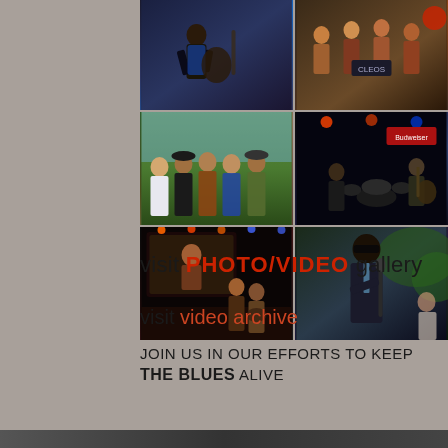[Figure (photo): Collage of 6 music-event photos arranged in a 2x3 grid showing musicians performing, group of people outdoors, concert stage scenes, and a singer with microphone]
visit PHOTO/VIDEO gallery
visit video archive
JOIN US IN OUR EFFORTS TO KEEP THE BLUES ALIVE